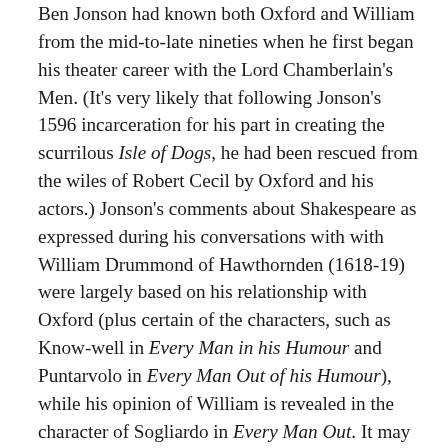Ben Jonson had known both Oxford and William from the mid-to-late nineties when he first began his theater career with the Lord Chamberlain's Men. (It's very likely that following Jonson's 1596 incarceration for his part in creating the scurrilous Isle of Dogs, he had been rescued from the wiles of Robert Cecil by Oxford and his actors.) Jonson's comments about Shakespeare as expressed during his conversations with with William Drummond of Hawthornden (1618-19) were largely based on his relationship with Oxford (plus certain of the characters, such as Know-well in Every Man in his Humour and Puntarvolo in Every Man Out of his Humour), while his opinion of William is revealed in the character of Sogliardo in Every Man Out. It may be that Oxford and Jonson (and one other) also collaborated on Cynthias's Revels, at a time when Oxford, weary of entertaining the ungrateful Queen, was seeking someone to whom he could pass the baton of Court Impresario––much as Propero attempted to train